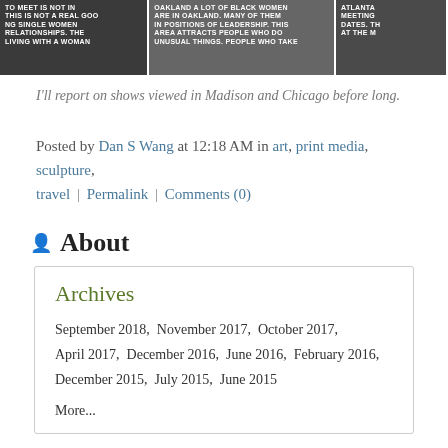[Figure (photo): Black and white photo strip showing three panels with text on chalkboards or signs about Black women in Oakland and Atlanta meetings]
I'll report on shows viewed in Madison and Chicago before long.
Posted by Dan S Wang at 12:18 AM in art, print media, sculpture, travel | Permalink | Comments (0)
About
Archives
September 2018,  November 2017,  October 2017,  April 2017,  December 2016,  June 2016,  February 2016,  December 2015,  July 2015,  June 2015
More...